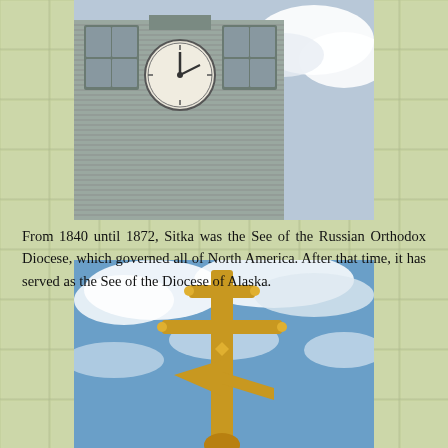[Figure (photo): Upward-angle view of a church building facade with a clock and windows]
From 1840 until 1872, Sitka was the See of the Russian Orthodox Diocese, which governed all of North America. After that time, it has served as the See of the Diocese of Alaska.
[Figure (photo): A gold Russian Orthodox cross against a blue sky with white clouds]